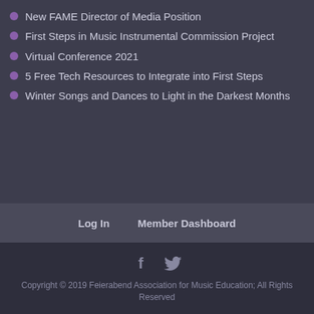New FAME Director of Media Position
First Steps in Music Instrumental Commission Project
Virtual Conference 2021
5 Free Tech Resources to Integrate into First Steps
Winter Songs and Dances to Light in the Darkest Months
Log In   Member Dashboard
Copyright © 2019 Feierabend Association for Music Education; All Rights Reserved